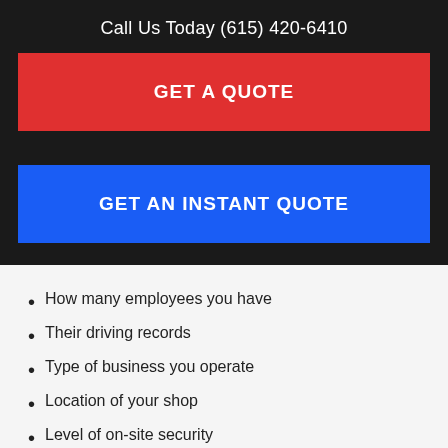Call Us Today (615) 420-6410
GET A QUOTE
GET AN INSTANT QUOTE
How many employees you have
Their driving records
Type of business you operate
Location of your shop
Level of on-site security
Our experienced agent can find you the best quote for